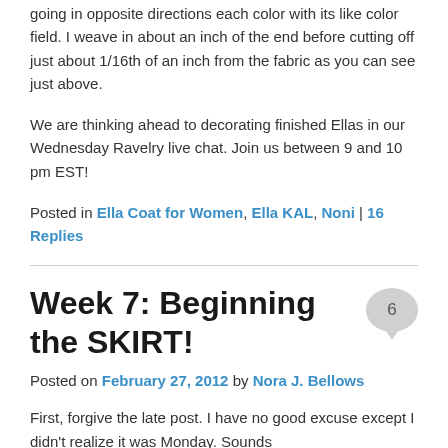going in opposite directions each color with its like color field. I weave in about an inch of the end before cutting off just about 1/16th of an inch from the fabric as you can see just above.
We are thinking ahead to decorating finished Ellas in our Wednesday Ravelry live chat. Join us between 9 and 10 pm EST!
Posted in Ella Coat for Women, Ella KAL, Noni | 16 Replies
Week 7: Beginning the SKIRT!
Posted on February 27, 2012 by Nora J. Bellows
First, forgive the late post. I have no good excuse except I didn't realize it was Monday. Sounds